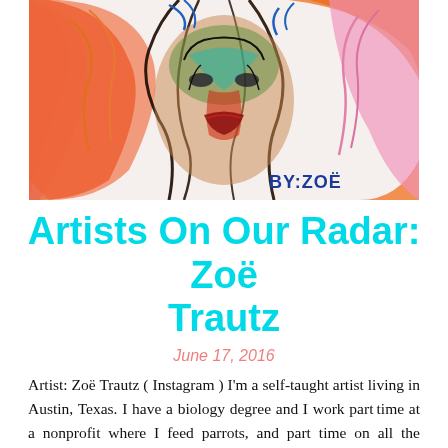[Figure (illustration): Colorful expressionist drawing of a face looking upward with wild hair in orange, pink, red, green and blue colors. Signed 'BY: ZOË' in bottom right corner.]
Artists On Our Radar: Zoë Trautz
June 17, 2016
Artist: Zoë Trautz ( Instagram ) I'm a self-taught artist living in Austin, Texas. I have a biology degree and I work part time at a nonprofit where I feed parrots, and part time on all the drawings that I make for free and show no one. My work is informed by my education in biology and psychology, and my